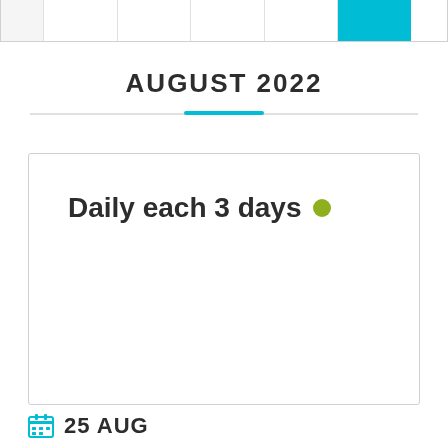|  |
AUGUST 2022
Daily each 3 days
25 AUG